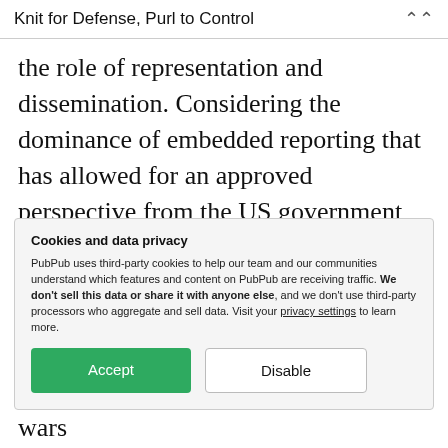Knit for Defense, Purl to Control
the role of representation and dissemination. Considering the dominance of embedded reporting that has allowed for an approved perspective from the US government and military, there is a difficulty according to Butler in how the viewer approaches these scenes of war. The viewer arrives at the image with the
Cookies and data privacy
PubPub uses third-party cookies to help our team and our communities understand which features and content on PubPub are receiving traffic. We don't sell this data or share it with anyone else, and we don't use third-party processors who aggregate and sell data. Visit your privacy settings to learn more.
images, caught in the legacy of these wars